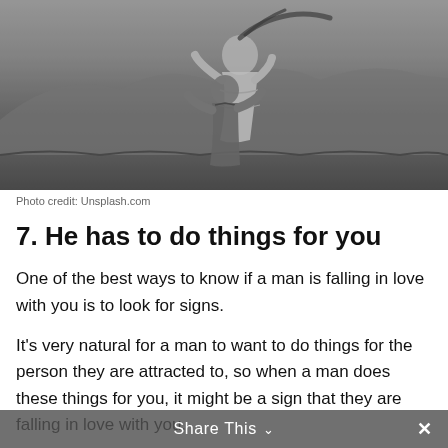[Figure (photo): Black and white photo of a couple embracing outdoors on a hillside, man lifting woman who has her head thrown back, mountains in background]
Photo credit: Unsplash.com
7. He has to do things for you
One of the best ways to know if a man is falling in love with you is to look for signs.
It's very natural for a man to want to do things for the person they are attracted to, so when a man does these things for you, it might be a sign that they are falling in love with you.
Share This ∨  ✕